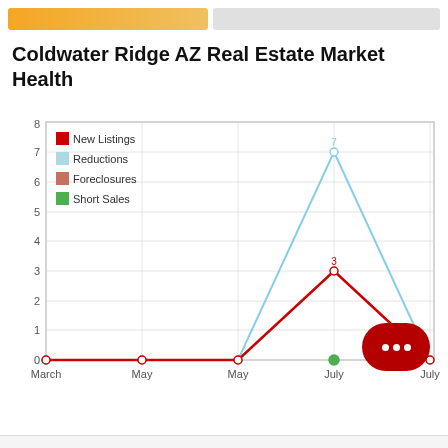Coldwater Ridge AZ Real Estate Market Health
[Figure (line-chart): Coldwater Ridge AZ Real Estate Market Health]